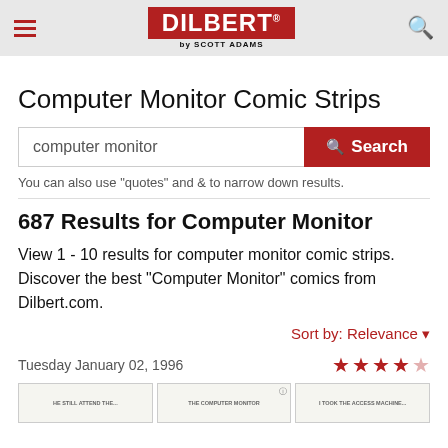DILBERT by SCOTT ADAMS
Computer Monitor Comic Strips
computer monitor [search input]
You can also use "quotes" and & to narrow down results.
687 Results for Computer Monitor
View 1 - 10 results for computer monitor comic strips. Discover the best "Computer Monitor" comics from Dilbert.com.
Sort by: Relevance
Tuesday January 02, 1996
[Figure (other): Comic strip thumbnails row showing three Dilbert comic strip preview images]